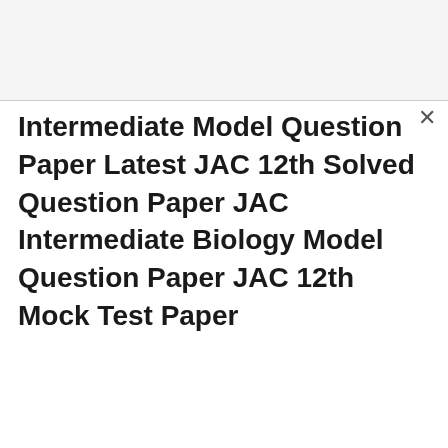Intermediate Model Question Paper Latest JAC 12th Solved Question Paper JAC Intermediate Biology Model Question Paper JAC 12th Mock Test Paper